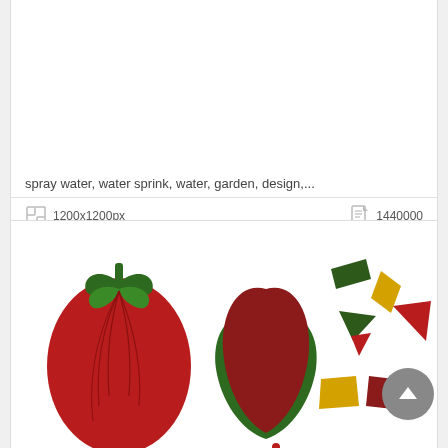spray water, water sprink, water, garden, design,...
1200x1200px   1440000
[Figure (illustration): Illustration of vegetables: a red tomato with green leaves, a red and green bell pepper, and scattered colorful polygon shapes in red, green, and yellow on white background]